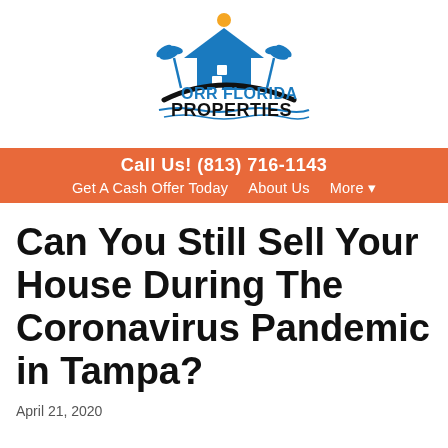[Figure (logo): Orr Florida Properties logo with house, palm trees, sun, and stylized text]
Call Us! (813) 716-1143 | Get A Cash Offer Today | About Us | More
Can You Still Sell Your House During The Coronavirus Pandemic in Tampa?
April 21, 2020